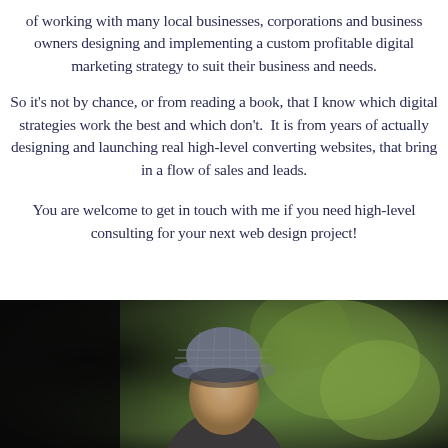of working with many local businesses, corporations and business owners designing and implementing a custom profitable digital marketing strategy to suit their business and needs.
So it's not by chance, or from reading a book, that I know which digital strategies work the best and which don't.  It is from years of actually designing and launching real high-level converting websites, that bring in a flow of sales and leads.
You are welcome to get in touch with me if you need high-level consulting for your next web design project!
[Figure (photo): A photograph of a person wearing a plaid bucket hat, partially visible from the shoulders up, against a blurred green outdoor background with dark areas on the left.]